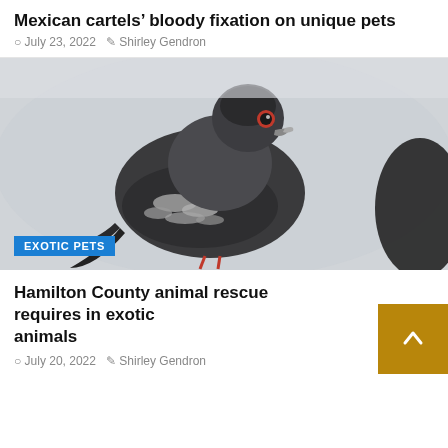Mexican cartels’ bloody fixation on unique pets
○ July 23, 2022   ✎ Shirley Gendron
[Figure (photo): Close-up photograph of a pigeon (rock dove) with dark grey and black plumage with white speckled pattern on wings, red eye ring, light background. Label overlay: EXOTIC PETS]
EXOTIC PETS
Hamilton County animal rescue requires in exotic animals
○ July 20, 2022   ✎ Shirley Gendron